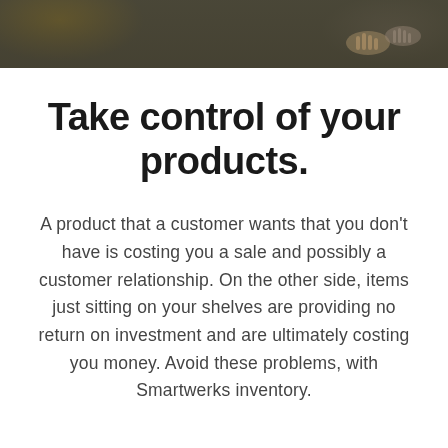[Figure (photo): Dark-toned banner photo showing hands and objects on a table, partially obscured, with a brownish-gold and grey color palette]
Take control of your products.
A product that a customer wants that you don't have is costing you a sale and possibly a customer relationship. On the other side, items just sitting on your shelves are providing no return on investment and are ultimately costing you money. Avoid these problems, with Smartwerks inventory.